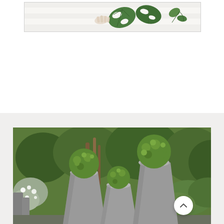[Figure (illustration): Decorative illustration of tropical leaves (monstera and vine leaves) on a white/light wooden background, framed with a thin border]
[Figure (photo): Garden photograph showing three tall cylindrical concrete/stone planters of varying heights, each topped with round spiky green topiary balls, set against a lush green garden background with white flowering plants on the left]